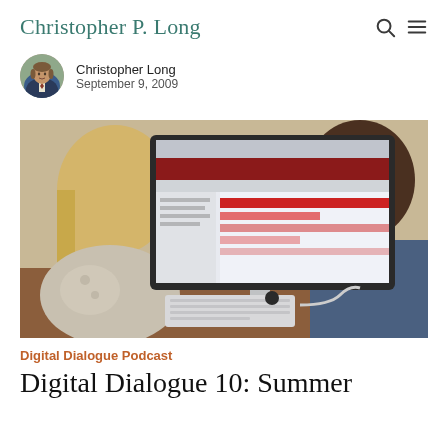Christopher P. Long
Christopher Long
September 9, 2009
[Figure (photo): Two people sitting at a desk looking at an iMac computer screen showing a red and white web application interface. One person has blonde hair, the other has dark hair. An Apple keyboard is visible on the desk.]
Digital Dialogue Podcast
Digital Dialogue 10: Summer